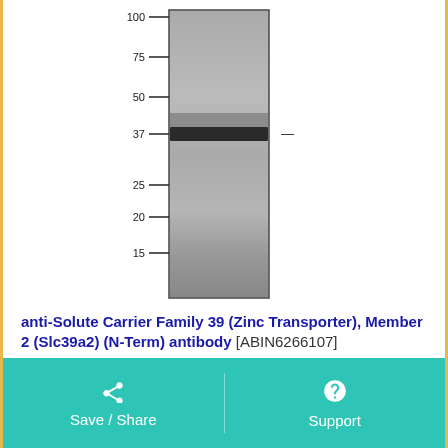[Figure (photo): Western blot image showing a single dark band at approximately 37 kDa molecular weight marker on a gel lane. Molecular weight markers visible on the left: 100, 75, 50, 37, 25, 20, 15 kDa. A dash marker is shown to the right of the band at ~37 kDa.]
anti-Solute Carrier Family 39 (Zinc Transporter), Member 2 (Slc39a2) (N-Term) antibody [ABIN6266107]
Slc39a2
Reactivity: Human
ELISA, ICC, IF, WB
Host: Rabbit
Polyclonal
unconjugated
Save / Share    Support